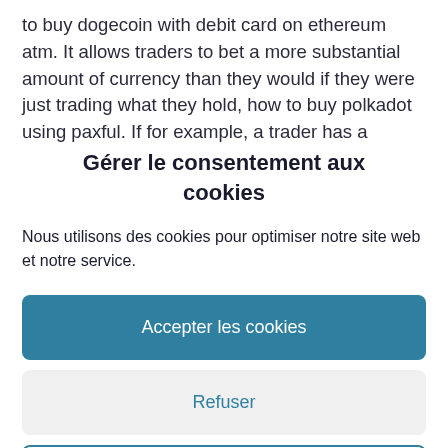to buy dogecoin with debit card on ethereum atm. It allows traders to bet a more substantial amount of currency than they would if they were just trading what they hold, how to buy polkadot using paxful. If for example, a trader has a limited amount of Bitcoin, they
Gérer le consentement aux cookies
Nous utilisons des cookies pour optimiser notre site web et notre service.
Accepter les cookies
Refuser
Voir les préférences